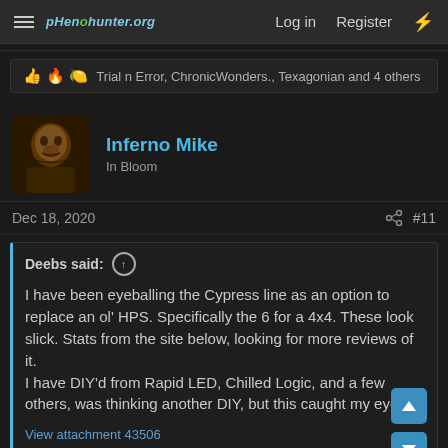pHenohunter.org — Log in | Register
👍 🔥 🍋 Trial n Error, ChronicWonders., Texagonian and 4 others
Inferno Mike
In Bloom
Dec 18, 2020  #11
Deebs said: ↑

I have been eyeballing the Cypress line as an option to replace an ol' HPS. Specifically the 6 for a 4x4. These look slick. Stats from the site below, looking for more reviews of it.
I have DIY'd from Rapid LED, Chilled Logic, and a few others, was thinking another DIY, but this caught my eye.

View attachment 43506

Click to expand...
I've been buying knockoffs and doing div for a minute after